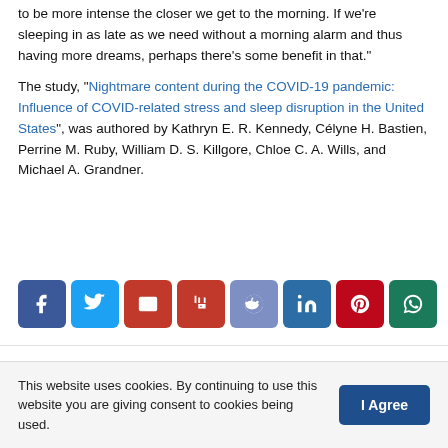to be more intense the closer we get to the morning. If we're sleeping in as late as we need without a morning alarm and thus having more dreams, perhaps there's some benefit in that."
The study, "Nightmare content during the COVID-19 pandemic: Influence of COVID-related stress and sleep disruption in the United States", was authored by Kathryn E. R. Kennedy, Célyne H. Bastien, Perrine M. Ruby, William D. S. Killgore, Chloe C. A. Wills, and Michael A. Grandner.
[Figure (infographic): Row of 8 social media share buttons: Facebook (dark blue), Twitter (light blue), Email (red), Digg (dark red), Reddit (muted blue), LinkedIn (blue), Pinterest (red), WhatsApp (green)]
This website uses cookies. By continuing to use this website you are giving consent to cookies being used.